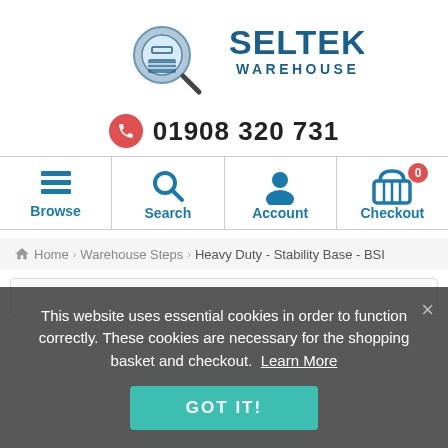[Figure (logo): Seltek Warehouse logo with magnifying glass over a basket icon and bold blue SELTEK WAREHOUSE text]
01908 320 731
[Figure (infographic): Navigation bar with four icons: Browse (hamburger menu), Search (magnifying glass), Account (person icon), Checkout (basket icon with badge 0)]
Home › Warehouse Steps › Heavy Duty - Stability Base - BSI
This website uses essential cookies in order to function correctly. These cookies are necessary for the shopping basket and checkout. Learn More
GOT IT!